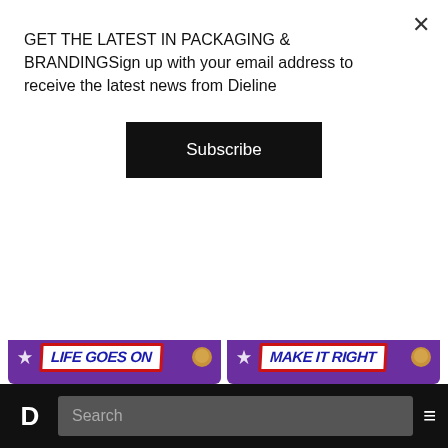GET THE LATEST IN PACKAGING & BRANDINGSign up with your email address to receive the latest news from Dieline
Subscribe
[Figure (photo): Eight BTS x Snickers candy bars with purple packaging arranged in a 2x4 grid, each bar displaying a BTS logo and a song title: LIFE GOES ON, MAKE IT RIGHT, I'M FINE, SPRING DAY, GOOD DAY, SAVE ME, NEVER MIND, FOR YOU]
FOOD PACKAGING
D  Search  ≡